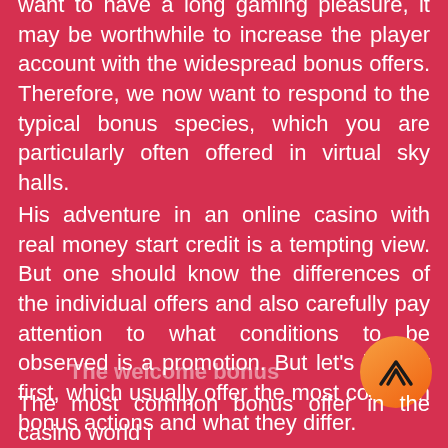want to have a long gaming pleasure, it may be worthwhile to increase the player account with the widespread bonus offers. Therefore, we now want to respond to the typical bonus species, which you are particularly often offered in virtual sky halls.
His adventure in an online casino with real money start credit is a tempting view. But one should know the differences of the individual offers and also carefully pay attention to what conditions to be observed is a promotion. But let's look at first, which usually offer the most common bonus actions and what they differ.
The welcome bonus
The most common bonus offer in the casino world i...